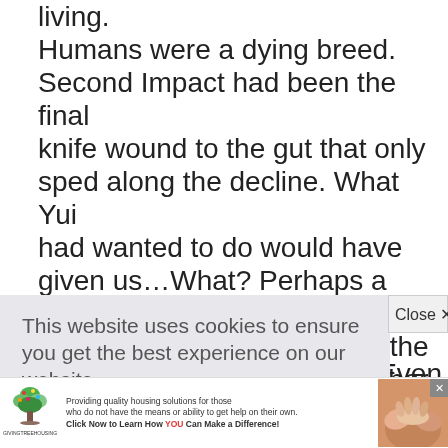living.
Humans were a dying breed. Second Impact had been the final
knife wound to the gut that only sped along the decline. What Yui
had wanted to do would have given us…What? Perhaps a new
humanity? Perhaps more of the same…He said a prayer for her and
placed a small bouquet of violets at the front of the tomb. Purple
se
. Even
ack
[Figure (other): Cookie consent banner overlay reading 'This website uses cookies to ensure you get the best experience on our website.' with a 'Learn more' link and a blue 'Got it!' button. A 'Close X' button appears to the right.]
hat
never...
[Figure (infographic): Advertisement banner for Giving Tree Housing with a tree logo, text about providing quality housing solutions, and a photo of hands on the right side.]